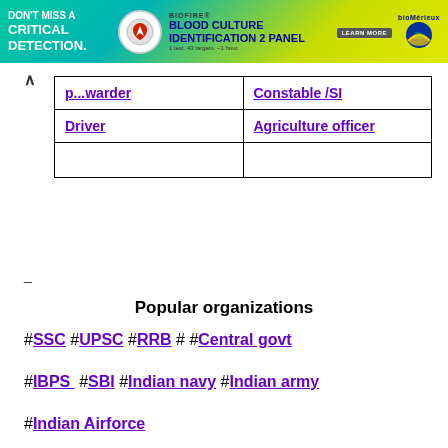[Figure (photo): BioFire Blood Culture Identification 2 Panel advertisement banner with teal/green gradient background, biohazard logo circle, BioMerieux brand logo]
| [p...warder] | Constable /SI |
| Driver | Agriculture officer |
|  |  |
_
Popular organizations
#SSC #UPSC #RRB # #Central govt
#IBPS  #SBI #Indian navy #Indian army
#Indian Airforce